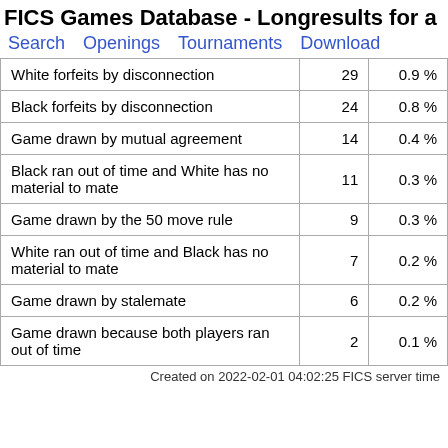FICS Games Database - Longresults for a
Search   Openings   Tournaments   Download
|  |  |  |
| --- | --- | --- |
| White forfeits by disconnection | 29 | 0.9 % |
| Black forfeits by disconnection | 24 | 0.8 % |
| Game drawn by mutual agreement | 14 | 0.4 % |
| Black ran out of time and White has no material to mate | 11 | 0.3 % |
| Game drawn by the 50 move rule | 9 | 0.3 % |
| White ran out of time and Black has no material to mate | 7 | 0.2 % |
| Game drawn by stalemate | 6 | 0.2 % |
| Game drawn because both players ran out of time | 2 | 0.1 % |
Created on 2022-02-01 04:02:25 FICS server time